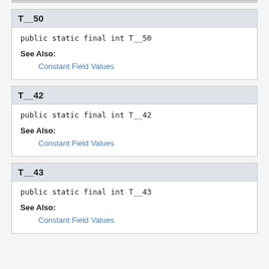T__50
public static final int T__50
See Also:
Constant Field Values
T__42
public static final int T__42
See Also:
Constant Field Values
T__43
public static final int T__43
See Also:
Constant Field Values